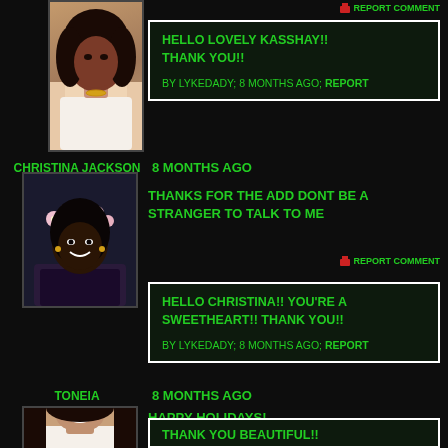REPORT COMMENT
HELLO LOVELY KASSHAY!! THANK YOU!! BY LYKEDADY; 8 MONTHS AGO; REPORT
[Figure (photo): Profile photo of a woman in white top]
CHRISTINA JACKSON  8 MONTHS AGO
THANKS FOR THE ADD DONT BE A STRANGER TO TALK TO ME
REPORT COMMENT
[Figure (photo): Profile photo of Christina Jackson wearing flower crown]
HELLO CHRISTINA!! YOU'RE A SWEETHEART!! THANK YOU!! BY LYKEDADY; 8 MONTHS AGO; REPORT
TONEIA  8 MONTHS AGO
HAPPY HOLIDAYS!
REPORT COMMENT
[Figure (photo): Profile photo of Toneia]
THANK YOU BEAUTIFUL!!